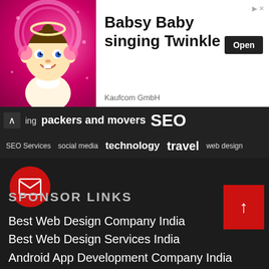[Figure (illustration): Advertisement banner: animated baby character with halo on pink background. Text: 'Babsy Baby singing Twinkle', company 'Kaufcom GmbH', Open button.]
ing   packers and movers   SEO
SEO Services   social media   technology   travel   web design
[Figure (illustration): Red circle with envelope/mail icon]
SPONSOR LINKS
Best Web Design Company India
Best Web Design Services India
Android App Development Company India
Android App Development Services India
Best Web Development Company India
Best Web Development Services India